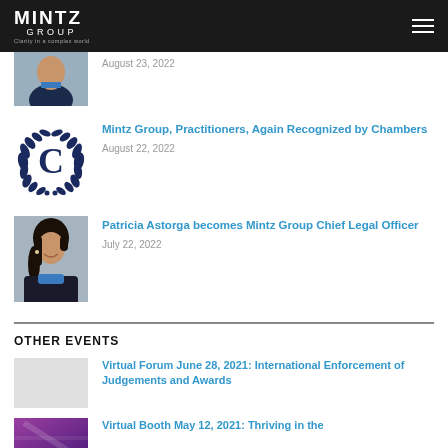MINTZ GROUP — Clarity in a complex world
[Figure (photo): Partial photo of a woman in a dark blazer and blue top, cropped at the top]
August 23, 2022
[Figure (logo): Chambers recognition logo: a stylized C with laurel wreath in dark navy blue]
Mintz Group, Practitioners, Again Recognized by Chambers
August 22, 2022
[Figure (photo): Professional headshot of Patricia Astorga, a woman with dark hair pulled back, smiling, wearing a dark blazer and blue top]
Patricia Astorga becomes Mintz Group Chief Legal Officer
July 22, 2022
OTHER EVENTS
Virtual Forum June 28, 2021: International Enforcement of Judgements and Awards
[Figure (photo): Partial purple/violet graphic for a virtual booth event]
Virtual Booth May 12, 2021: Thriving in the